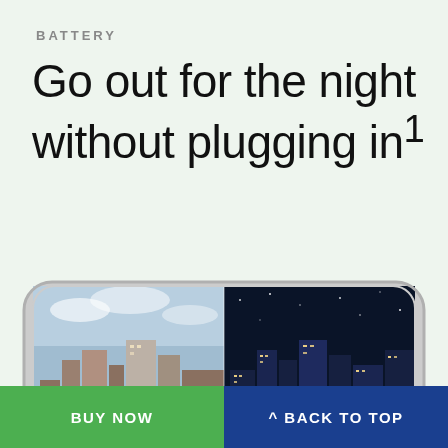BATTERY
Go out for the night without plugging in¹
[Figure (photo): A smartphone displaying a city skyline transitioning from day to night, with a battery icon overlaid in the center of the screen.]
BUY NOW
^ BACK TO TOP